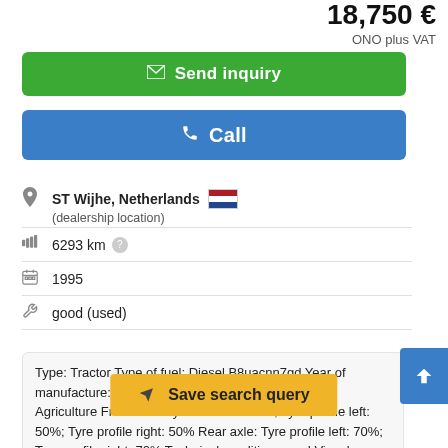18,750 €
ONO plus VAT
Send inquiry
Call
ST Wijhe, Netherlands (dealership location)
6293 km
1995
good (used)
Type: Tractor Type of fuel: Diesel B8uacnn7gd Year of manufacture: 1995 Colour: Red Field of application: Agriculture Front axle: Tyre size: 12.4R24; Tyre profile left: 50%; Tyre profile right: 50% Rear axle: Tyre profile left: 70%; Tyre profile right: 70% Technical condition: good Visual appearance: good
Save search query